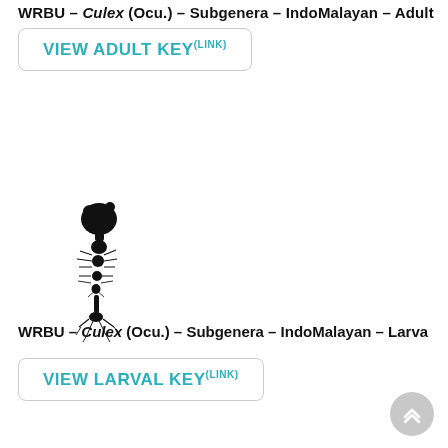WRBU – Culex (Ocu.) – Subgenera – IndoMalayan – Adult
VIEW ADULT KEY (link)
[Figure (illustration): Black ink illustration of a mosquito larva, showing segmented body with bristles, siphon tube, and head detail]
WRBU – Culex (Ocu.) – Subgenera – IndoMalayan – Larva
VIEW LARVAL KEY (link)